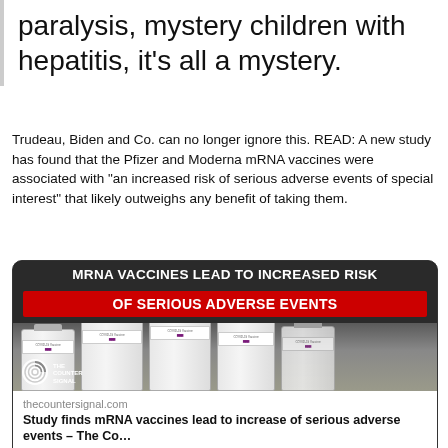paralysis, mystery children with hepatitis, it's all a mystery.
Trudeau, Biden and Co. can no longer ignore this. READ: A new study has found that the Pfizer and Moderna mRNA vaccines were associated with "an increased risk of serious adverse events of special interest" that likely outweighs any benefit of taking them.
[Figure (screenshot): News article card with dark background showing COVID-19 vaccine bottles. Headline reads 'mRNA VACCINES LEAD TO INCREASED RISK' with red banner 'OF SERIOUS ADVERSE EVENTS'. The Counter Signal logo is visible bottom left.]
thecountersignal.com
Study finds mRNA vaccines lead to increase of serious adverse events – The Co…
A study has found that mRNA vaccines are associated with an increased risk of